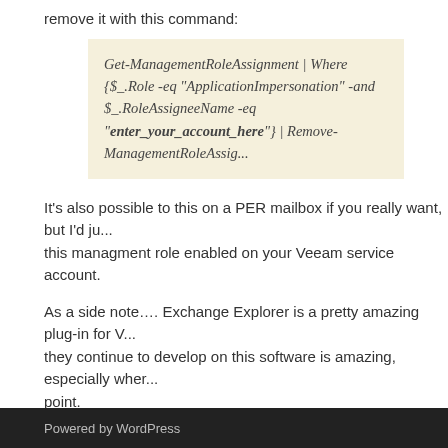remove it with this command:
Get-ManagementRoleAssignment | Where {$_.Role -eq "ApplicationImpersonation" -and $_.RoleAssigneeName -eq "enter_your_account_here"} | Remove-ManagementRoleAssignment
It's also possible to this on a PER mailbox if you really want, but I'd just leave this managment role enabled on your Veeam service account.
As a side note…. Exchange Explorer is a pretty amazing plug-in for Veeam. What they continue to develop on this software is amazing, especially when it's free at this point.
Til next time…
Exchange, Veeam, Windows
exchange explorer, managment roles, powershelll, veeam
Powered by WordPress